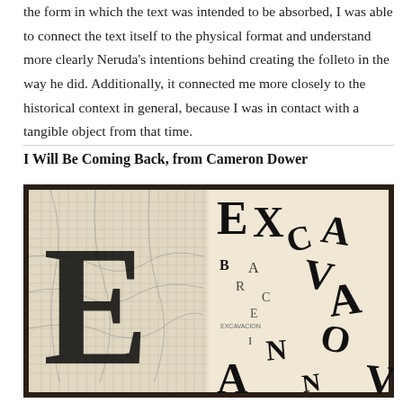the form in which the text was intended to be absorbed, I was able to connect the text itself to the physical format and understand more clearly Neruda's intentions behind creating the folleto in the way he did. Additionally, it connected me more closely to the historical context in general, because I was in contact with a tangible object from that time.
I Will Be Coming Back, from Cameron Dower
[Figure (photo): A book open to a spread showing typographic artwork. The left page features a large black Gothic letter 'E' overlaid on a map-like grid pattern. The right page shows scattered black letterforms spelling 'EXCAVACION' or similar, with letters arranged in a fragmented, collage-like composition on a cream background.]